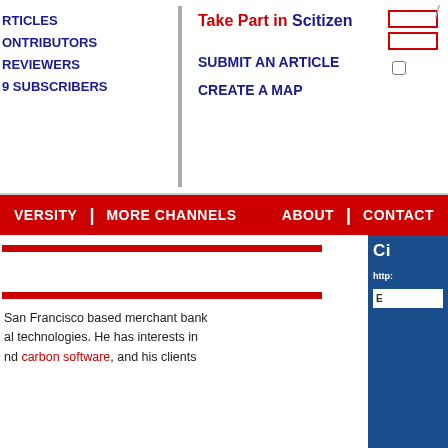ARTICLES
CONTRIBUTORS
REVIEWERS
49 SUBSCRIBERS
Take Part in Scitizen
SUBMIT AN ARTICLE
CREATE A MAP
VERSITY | MORE CHANNELS | ABOUT | CONTACT
[Figure (screenshot): Red horizontal bar used as section divider]
San Francisco based merchant bank al technologies. He has interests in nd carbon software, and his clients
[Figure (screenshot): Red horizontal bar used as section divider]
[Figure (screenshot): Red horizontal bar used as section divider]
istration ◆ I Blame